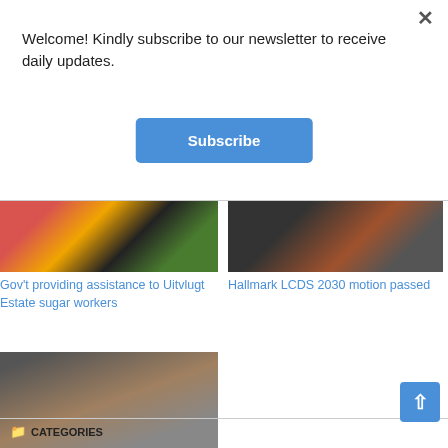Welcome! Kindly subscribe to our newsletter to receive daily updates.
Subscribe
[Figure (photo): Colorful flags with red, yellow, green, black colors — government/national event scene]
Gov't providing assistance to Uitvlugt Estate sugar workers
[Figure (photo): People seated at a table in a formal meeting or conference room]
Hallmark LCDS 2030 motion passed
[Figure (photo): A man in a suit standing on steps of a building]
Major relief for miners with removal of Tributors tax
CATEGORIES